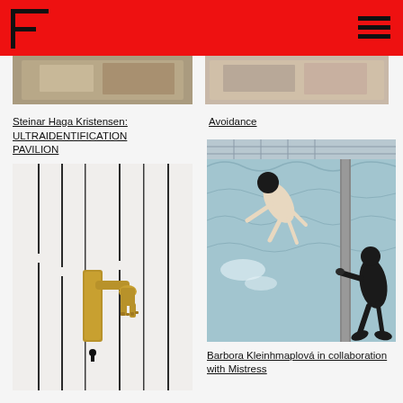Steinar Haga Kristensen: ULTRAIDENTIFICATION PAVILION
[Figure (photo): Close-up of a white door with vertical black lines and a gold/brass door handle shaped like two feet/legs.]
Avoidance
[Figure (photo): Painting of a swimming pool scene with two figures: one pale nude figure with a black head floating/diving, and a dark-skinned figure in a wetsuit grabbing a dividing wall.]
Barbora Kleinhmaplová in collaboration with Mistress